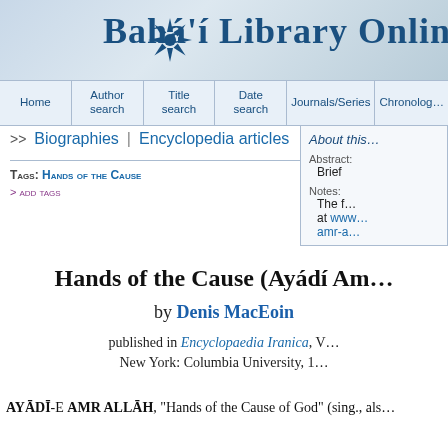Bahá'í Library Online
Home | Author search | Title search | Date search | Journals/Series | Chronolog…
>> Biographies | Encyclopedia articles
About this…
Abstract: Brief
Notes: The f… at www… amr-a…
TAGS: Hands of the Cause
> ADD TAGS
Hands of the Cause (Ayádí Am…
by Denis MacEoin
published in Encyclopaedia Iranica, V… New York: Columbia University, 1…
AYĀDĪ-E AMR ALLĀH, "Hands of the Cause of God" (sing., als…